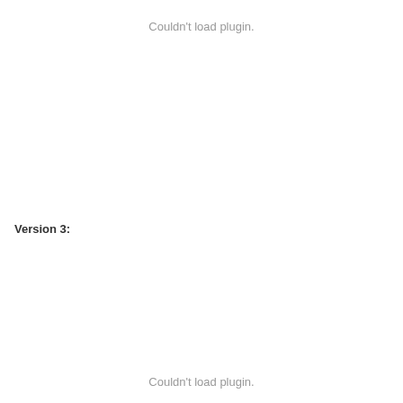Couldn't load plugin.
Version 3:
Couldn't load plugin.